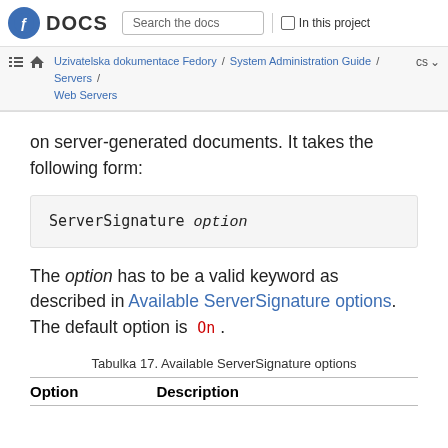DOCS | Search the docs | In this project
Uzivatelska dokumentace Fedory / System Administration Guide / Servers / Web Servers  cs
on server-generated documents. It takes the following form:
The option has to be a valid keyword as described in Available ServerSignature options. The default option is On.
Tabulka 17. Available ServerSignature options
| Option | Description |
| --- | --- |